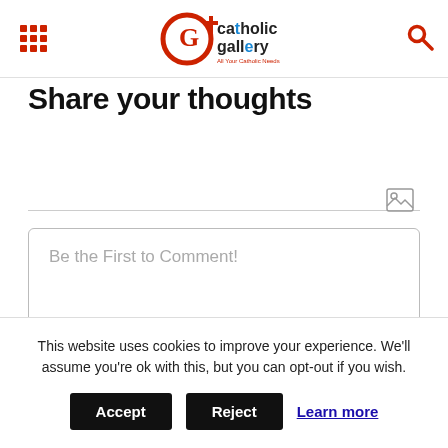Catholic Gallery - All Your Catholic Needs
Share your thoughts
Be the First to Comment!
This website uses cookies to improve your experience. We'll assume you're ok with this, but you can opt-out if you wish. Accept  Reject  Learn more